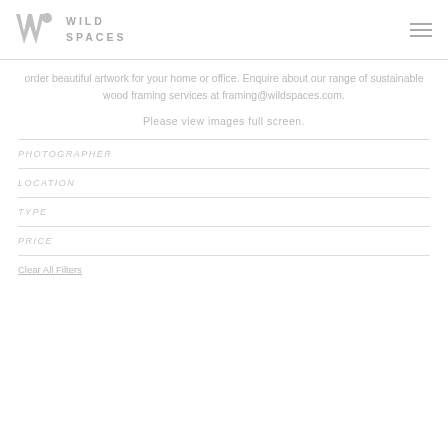WILD SPACES
order beautiful artwork for your home or office. Enquire about our range of sustainable wood framing services at framing@wildspaces.com.
Please view images full screen.
PHOTOGRAPHER
LOCATION
TYPE
PRICE
Clear All Filters